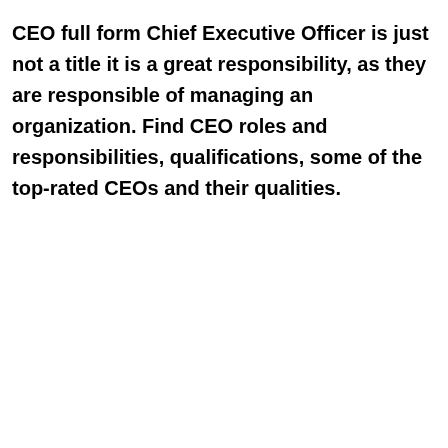CEO full form Chief Executive Officer is just not a title it is a great responsibility, as they are responsible of managing an organization. Find CEO roles and responsibilities, qualifications, some of the top-rated CEOs and their qualities.